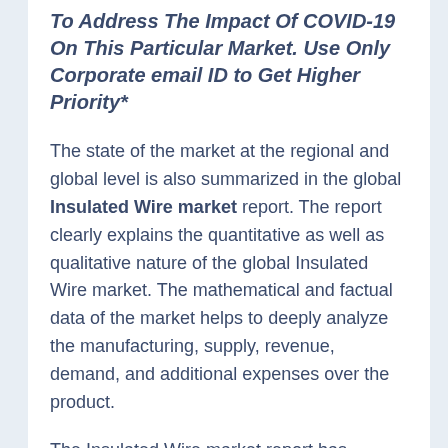To Address The Impact Of COVID-19 On This Particular Market. Use Only Corporate email ID to Get Higher Priority*
The state of the market at the regional and global level is also summarized in the global Insulated Wire market report. The report clearly explains the quantitative as well as qualitative nature of the global Insulated Wire market. The mathematical and factual data of the market helps to deeply analyze the manufacturing, supply, revenue, demand, and additional expenses over the product.
The Insulated Wire market report has fragmented the global market in various segments for better analysis and